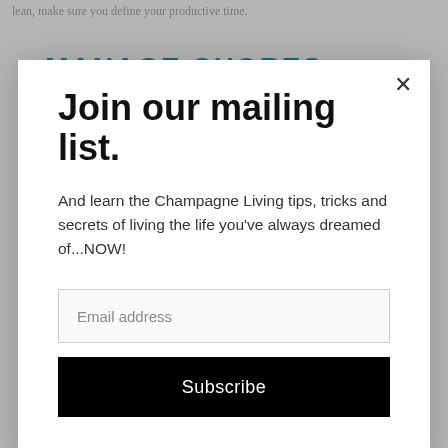lean, make sure you define your productive time.
7. MANAGE CHORES
Join our mailing list.
And learn the Champagne Living tips, tricks and secrets of living the life you've always dreamed of...NOW!
Email address
Subscribe
8. MINIMIZE INTERRUPTIONS